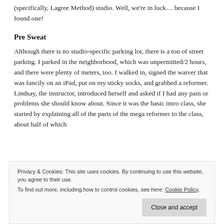(specifically, Lagree Method) studio. Well, we're in luck… because I found one!
Pre Sweat
Although there is no studio-specific parking lot, there is a ton of street parking. I parked in the neighborhood, which was unpermitted/2 hours, and there were plenty of meters, too. I walked in, signed the waiver that was fancily on an iPad, put on my sticky socks, and grabbed a reformer. Lindsay, the instructor, introduced herself and asked if I had any pain or problems she should know about. Since it was the basic intro class, she started by explaining all of the parts of the mega reformer to the class, about half of which
Privacy & Cookies: This site uses cookies. By continuing to use this website, you agree to their use.
To find out more, including how to control cookies, see here: Cookie Policy
Close and accept